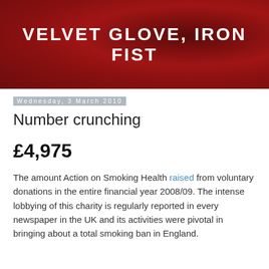[Figure (other): Dark red/crimson banner header with the blog title 'VELVET GLOVE, IRON FIST' in large white bold uppercase letters]
Wednesday, 3 March 2010
Number crunching
£4,975
The amount Action on Smoking Health raised from voluntary donations in the entire financial year 2008/09. The intense lobbying of this charity is regularly reported in every newspaper in the UK and its activities were pivotal in bringing about a total smoking ban in England.